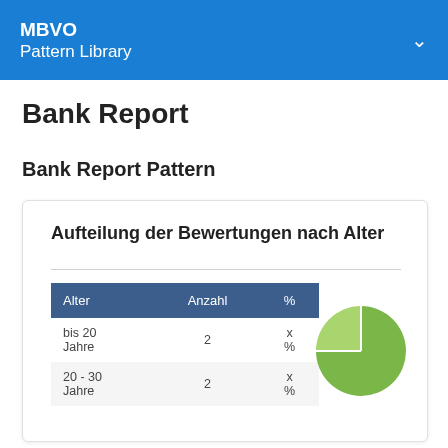MBVO Pattern Library
Bank Report
Bank Report Pattern
Aufteilung der Bewertungen nach Alter
| Alter | Anzahl | % |
| --- | --- | --- |
| bis 20 Jahre | 2 | x % |
| 20 - 30 Jahre | 2 | x % |
[Figure (pie-chart): Partial pie chart showing age distribution, partially visible in lower-right of card]